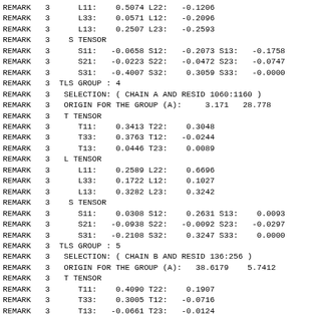REMARK   3      L11:    0.5074 L22:   -0.1206
REMARK   3      L33:    0.0571 L12:   -0.2096
REMARK   3      L13:    0.2507 L23:   -0.2593
REMARK   3    S TENSOR
REMARK   3      S11:   -0.0658 S12:   -0.2073 S13:   -0.1758
REMARK   3      S21:   -0.0223 S22:   -0.0472 S23:   -0.0747
REMARK   3      S31:   -0.4007 S32:    0.3059 S33:   -0.0000
REMARK   3  TLS GROUP : 4
REMARK   3   SELECTION: ( CHAIN A AND RESID 1060:1160 )
REMARK   3   ORIGIN FOR THE GROUP (A):     3.171   28.778
REMARK   3   T TENSOR
REMARK   3      T11:    0.3413 T22:    0.3048
REMARK   3      T33:    0.3763 T12:   -0.0244
REMARK   3      T13:    0.0446 T23:    0.0089
REMARK   3   L TENSOR
REMARK   3      L11:    0.2589 L22:    0.6696
REMARK   3      L33:    0.1722 L12:    0.1027
REMARK   3      L13:    0.3282 L23:    0.3242
REMARK   3    S TENSOR
REMARK   3      S11:    0.0308 S12:    0.2631 S13:    0.0093
REMARK   3      S21:   -0.0938 S22:   -0.0092 S23:   -0.0297
REMARK   3      S31:   -0.2108 S32:    0.3247 S33:    0.0000
REMARK   3  TLS GROUP : 5
REMARK   3   SELECTION: ( CHAIN B AND RESID 136:256 )
REMARK   3   ORIGIN FOR THE GROUP (A):   38.6179    5.7412
REMARK   3   T TENSOR
REMARK   3      T11:    0.4090 T22:    0.1907
REMARK   3      T33:    0.3005 T12:   -0.0716
REMARK   3      T13:   -0.0661 T23:   -0.0124
REMARK   3   L TENSOR